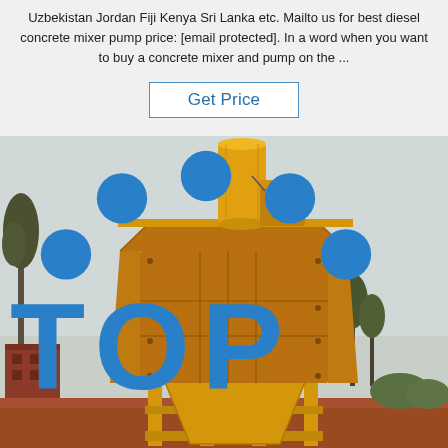Uzbekistan Jordan Fiji Kenya Sri Lanka etc. Mailto us for best diesel concrete mixer pump price: [email protected]. In a word when you want to buy a concrete mixer and pump on the ...
Get Price
[Figure (photo): Yellow diesel concrete mixer pump machine on outdoor site with trees and red-brick buildings in background. The machine has a large hopper, vertical cylindrical drum on top, and yellow structural steel frame support.]